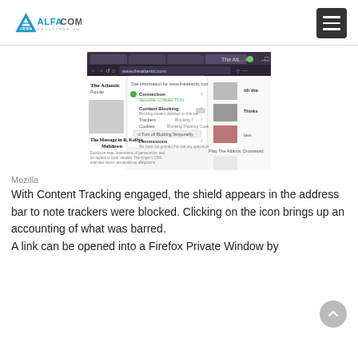ALFACOM SOLUTIONS OU
[Figure (screenshot): Screenshot of Firefox browser showing a website (The Atlantic) with a content-blocking information panel open, displaying Connection, Content Blocking, Trackers, Cookies, Permissions sections.]
Mozilla
With Content Tracking engaged, the shield appears in the address bar to note trackers were blocked. Clicking on the icon brings up an accounting of what was barred.
A link can be opened into a Firefox Private Window by